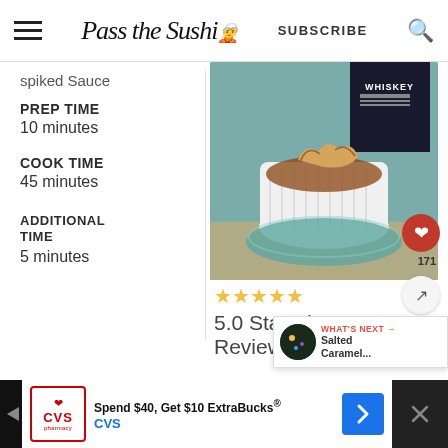Pass the Sushi — SUBSCRIBE
spiked Sauce
PREP TIME
10 minutes
COOK TIME
45 minutes
ADDITIONAL TIME
5 minutes
[Figure (photo): A white ramekin filled with a caramel/bread pudding dessert in whiskey sauce, served on a teal plate, with a whiskey bottle visible in background. Heart/save button (171 saves) and share button visible.]
5.0 Stars (? Reviews)
WHAT'S NEXT → Salted Caramel...
Spend $40, Get $10 ExtraBucks® CVS